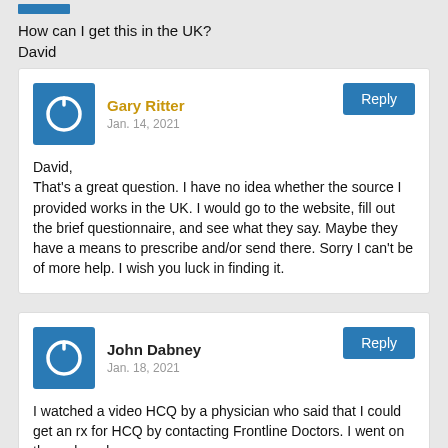[Figure (other): Blue avatar icon (power symbol)]
How can I get this in the UK?
David
Gary Ritter
Jan. 14, 2021
David,
That's a great question. I have no idea whether the source I provided works in the UK. I would go to the website, fill out the brief questionnaire, and see what they say. Maybe they have a means to prescribe and/or send there. Sorry I can't be of more help. I wish you luck in finding it.
John Dabney
Jan. 18, 2021
I watched a video HCQ by a physician who said that I could get an rx for HCQ by contacting Frontline Doctors. I went on the web and